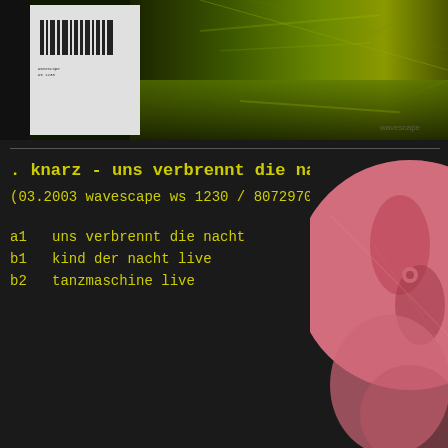[Figure (photo): Top banner showing album cover artwork: a dark green/yellow tunnel/road scene with motion blur, with a partial white sleeve/barcode visible on the left side]
. knarz - uns verbrennt die nacht .
(03.2003 wavescape ws 1230 / 807297080513) 12"
a1   uns verbrennt die nacht
b1   kind der nacht live
b2   tanzmaschine live
[Figure (photo): Right side image showing a pink vinyl record label with artwork visible]